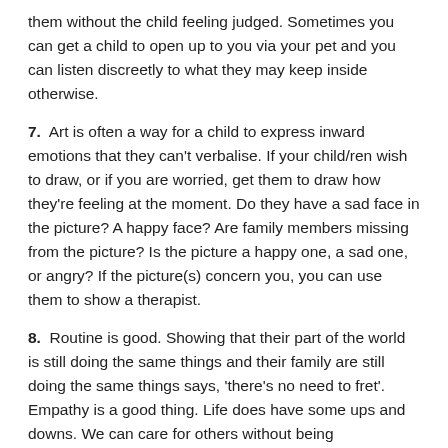them without the child feeling judged. Sometimes you can get a child to open up to you via your pet and you can listen discreetly to what they may keep inside otherwise.
7.  Art is often a way for a child to express inward emotions that they can't verbalise. If your child/ren wish to draw, or if you are worried, get them to draw how they're feeling at the moment. Do they have a sad face in the picture? A happy face? Are family members missing from the picture? Is the picture a happy one, a sad one, or angry? If the picture(s) concern you, you can use them to show a therapist.
8.  Routine is good. Showing that their part of the world is still doing the same things and their family are still doing the same things says, 'there's no need to fret'. Empathy is a good thing. Life does have some ups and downs. We can care for others without being overwhelmed.